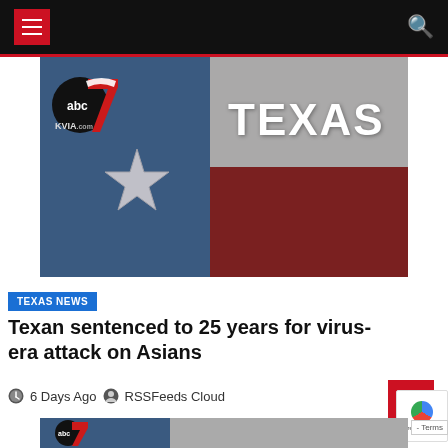Navigation bar with hamburger menu and search icon
[Figure (photo): ABC7 KVIA.com news station logo overlaid on a Texas flag painted on a brick wall, showing the blue field with star, white stripe with TEXAS text, and red stripe]
TEXAS NEWS
Texan sentenced to 25 years for virus-era attack on Asians
6 Days Ago  RSSFeeds Cloud